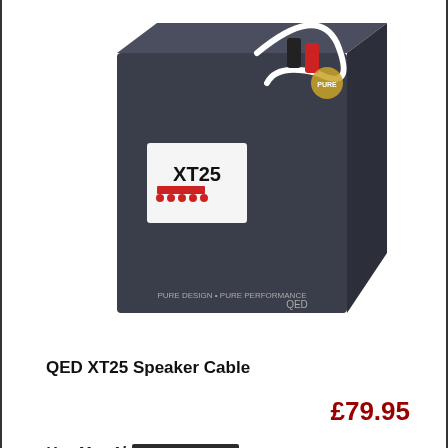[Figure (photo): Product photo of QED XT25 Speaker Cable in dark packaging box with cable and banana plugs visible]
QED XT25 Speaker Cable
View
£79.95
You May Also Like
[Figure (photo): Two related product images showing dark/black speaker panels or similar audio products]